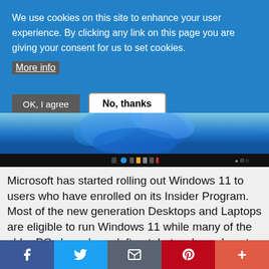We use cookies on this site to enhance your user experience. By clicking any link on this page you are giving your consent for us to set cookies.
More info
OK, I agree
No, thanks
[Figure (screenshot): Windows 11 desktop screenshot showing the taskbar and blue flower wallpaper]
Microsoft has started rolling out Windows 11 to users who have enrolled on its Insider Program. Most of the new generation Desktops and Laptops are eligible to run Windows 11 while many of the older PCs have been left out. Let us know how to Download and Install Windows 11 Operating System.
[Figure (infographic): Social share bar with Facebook, Twitter, Email, Pinterest, and plus buttons]